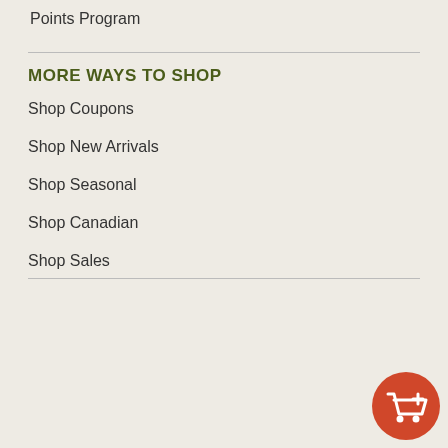Points Program
MORE WAYS TO SHOP
Shop Coupons
Shop New Arrivals
Shop Seasonal
Shop Canadian
Shop Sales
[Figure (infographic): Five icons in a row: Canadian maple leaf (100% CANADIAN OWNED), phone (Need Help? Call 1-800-839-7232), box with arrows (Easy Returns), checkmark circle (Quality and Product Satisfaction Guarantee), shopping cart with lock (Safe & Secure Shopping). An orange floating cart button in bottom right.]